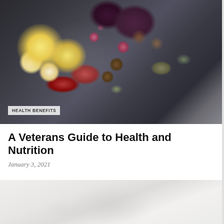[Figure (photo): Overhead view of a charcuterie/food platter on a dark background with figs, grapes, prosciutto, eggs, olives, almonds, and cheese, with forks and a gray cloth napkin visible beside the plate. A white badge reads 'HEALTH BENEFITS'.]
A Veterans Guide to Health and Nutrition
January 3, 2021
[Figure (photo): Partially visible photograph, mostly white/light gray, possibly a close-up food or kitchen image.]